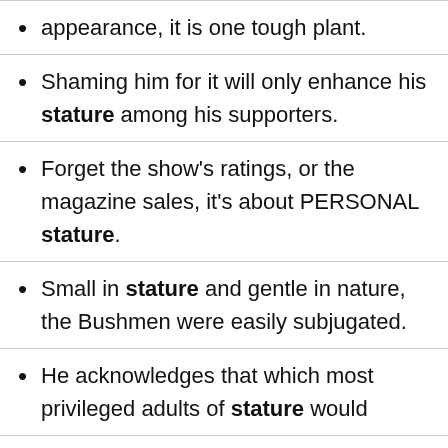appearance, it is one tough plant.
Shaming him for it will only enhance his stature among his supporters.
Forget the show's ratings, or the magazine sales, it's about PERSONAL stature.
Small in stature and gentle in nature, the Bushmen were easily subjugated.
He acknowledges that which most privileged adults of stature would